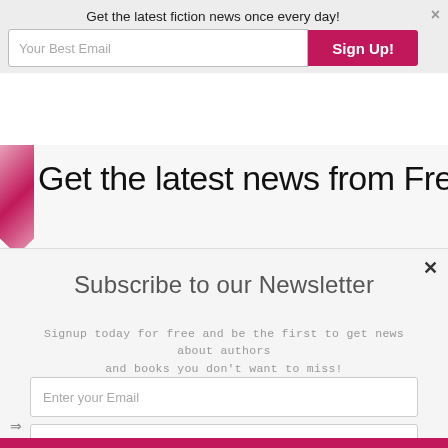Get the latest fiction news once every day!
Your Best Email
Sign Up!
Get the latest news from Fresh
Subscribe to our Newsletter
Signup today for free and be the first to get news about authors and books you don't want to miss!
Enter your Email
Enter your First name